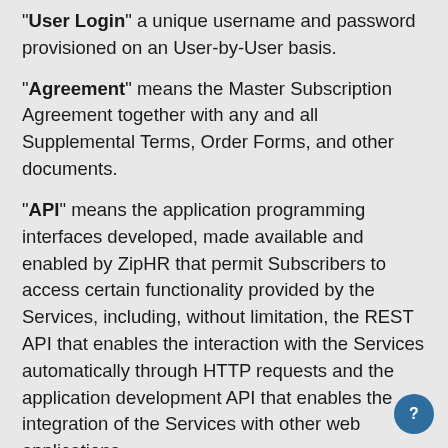"User Login" a unique username and password provisioned on an User-by-User basis.
"Agreement" means the Master Subscription Agreement together with any and all Supplemental Terms, Order Forms, and other documents.
"API" means the application programming interfaces developed, made available and enabled by ZipHR that permit Subscribers to access certain functionality provided by the Services, including, without limitation, the REST API that enables the interaction with the Services automatically through HTTP requests and the application development API that enables the integration of the Services with other web applications.
"Applicable Data Protection Law" means the prevailing data protection law(s) in the country in which the Customer is legally domiciled
"Associated Services" means products, services, features